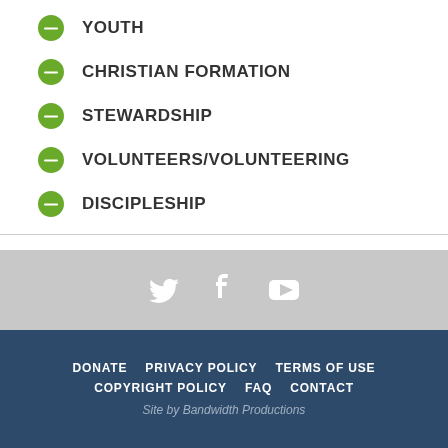YOUTH
CHRISTIAN FORMATION
STEWARDSHIP
VOLUNTEERS/VOLUNTEERING
DISCIPLESHIP
BACK   1 of 111   NEXT
[Figure (other): Social media icons: Twitter, Facebook, YouTube]
DONATE   PRIVACY POLICY   TERMS OF USE   COPYRIGHT POLICY   FAQ   CONTACT   Site by Bandwidth Productions